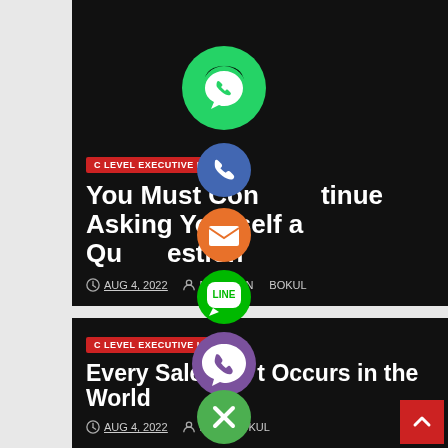[Figure (screenshot): Dark-background blog article card 1 with red badge C LEVEL EXECUTIVE LIST, title 'You Must Continue Asking Yourself a Question', date AUG 4, 2022, author MIJANBOKUL. Social media sharing icons (WhatsApp green, phone blue, email orange, LINE green, Viber purple, close green) overlaid on top.]
C LEVEL EXECUTIVE LIST
You Must Continue Asking Yourself a Question
AUG 4, 2022  MIJANBOKUL
[Figure (screenshot): Dark-background blog article card 2 with red badge C LEVEL EXECUTIVE LIST, title 'Every Sale That Occurs in the World', date AUG 4, 2022, author MIJANBOKUL.]
C LEVEL EXECUTIVE LIST
Every Sale That Occurs in the World
AUG 4, 2022  MIJANBOKUL